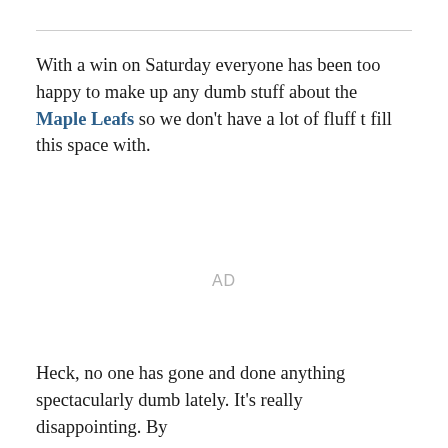With a win on Saturday everyone has been too happy to make up any dumb stuff about the Maple Leafs so we don't have a lot of fluff t fill this space with.
AD
Heck, no one has gone and done anything spectacularly dumb lately. It's really disappointing. By